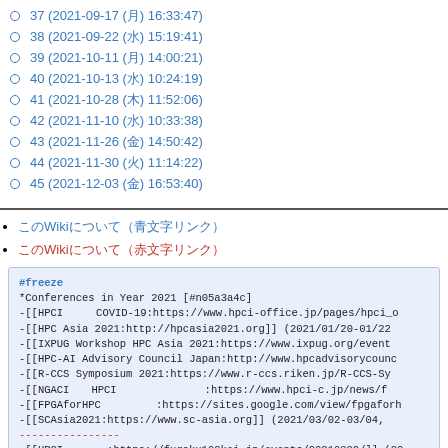37 (2021-09-17 (月) 16:33:47)
38 (2021-09-22 (水) 15:19:41)
39 (2021-10-11 (月) 14:00:21)
40 (2021-10-13 (水) 10:24:19)
41 (2021-10-28 (木) 11:52:06)
42 (2021-11-10 (水) 10:33:38)
43 (2021-11-26 (金) 14:50:42)
44 (2021-11-30 (火) 11:14:22)
45 (2021-12-03 (金) 16:53:40)
このWikiについて（青文字リンク）
このWikiについて（赤文字リンク）
#freeze
*Conferences in Year 2021 [#n05a3a4c]
-[[HPCIとCOVID-19:https://www.hpci-office.jp/pages/hpci_o
-[[HPC Asia 2021:http://hpcasia2021.org]] (2021/01/20-01/22
-[[IXPUG Workshop HPC Asia 2021:https://www.ixpug.org/event
-[[HPC-AI Advisory Council Japan:http://www.hpcadvisorycounc
-[[R-CCS Symposium 2021:https://www.r-ccs.riken.jp/R-CCS-Sy
-[[NGACIとHPCI研究開発推進協議会:https://www.hpci-c.jp/news/f
-[[FPGAforHPC研究会:https://sites.google.com/view/fpgaforh
-[[SCAsia2021:https://www.sc-asia.org]] (2021/03/02-03/04,
----------------
-[[HPCI計算資源:https://fugaku100kei.jp/events/20210309/]] (20
-[[第178回HPC研究会:https://www.ipsj.or.jp/kenkyukai/event/hpc17